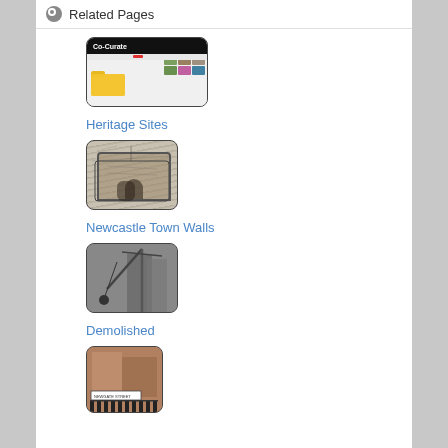Related Pages
[Figure (screenshot): Co-Curate website screenshot thumbnail with folder icon]
Heritage Sites
[Figure (illustration): Pencil sketch of Newcastle Town Walls with archway]
Newcastle Town Walls
[Figure (photo): Black and white photo of demolition crane and wrecking ball]
Demolished
[Figure (photo): Partial photo showing street scene with signage and fence]